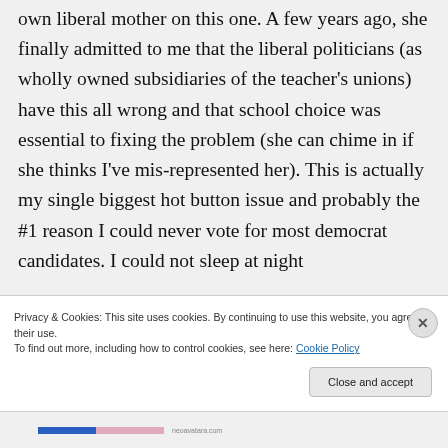own liberal mother on this one. A few years ago, she finally admitted to me that the liberal politicians (as wholly owned subsidiaries of the teacher's unions) have this all wrong and that school choice was essential to fixing the problem (she can chime in if she thinks I've mis-represented her). This is actually my single biggest hot button issue and probably the #1 reason I could never vote for most democrat candidates. I could not sleep at night
Privacy & Cookies: This site uses cookies. By continuing to use this website, you agree to their use.
To find out more, including how to control cookies, see here: Cookie Policy
Close and accept